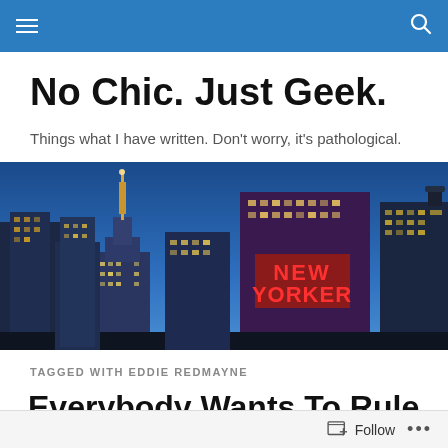Navigation bar with hamburger menu and search icon
No Chic. Just Geek.
Things what I have written. Don't worry, it's pathological.
[Figure (photo): New York City skyline at dusk showing the Empire State Building and a building with NEW YORKER neon sign]
TAGGED WITH EDDIE REDMAYNE
Everybody Wants To Rule The World
Follow   ...